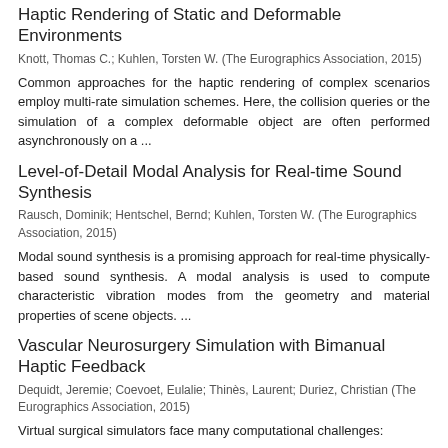Haptic Rendering of Static and Deformable Environments
Knott, Thomas C.; Kuhlen, Torsten W. (The Eurographics Association, 2015)
Common approaches for the haptic rendering of complex scenarios employ multi-rate simulation schemes. Here, the collision queries or the simulation of a complex deformable object are often performed asynchronously on a ...
Level-of-Detail Modal Analysis for Real-time Sound Synthesis
Rausch, Dominik; Hentschel, Bernd; Kuhlen, Torsten W. (The Eurographics Association, 2015)
Modal sound synthesis is a promising approach for real-time physically-based sound synthesis. A modal analysis is used to compute characteristic vibration modes from the geometry and material properties of scene objects. ...
Vascular Neurosurgery Simulation with Bimanual Haptic Feedback
Dequidt, Jeremie; Coevoet, Eulalie; Thinès, Laurent; Duriez, Christian (The Eurographics Association, 2015)
Virtual surgical simulators face many computational challenges: